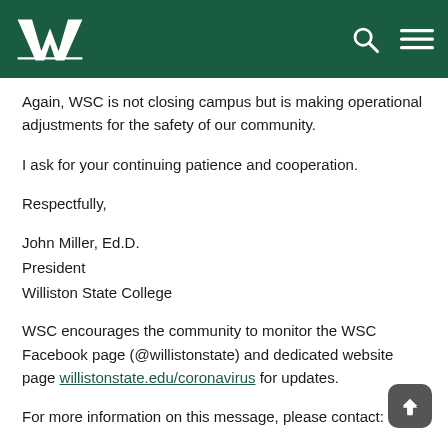faculty and staff are able to continue their teaching, support, and … duties.
[Figure (logo): Williston State College W logo in white on dark green navigation bar, with search and menu icons on the right]
Again, WSC is not closing campus but is making operational adjustments for the safety of our community.
I ask for your continuing patience and cooperation.
Respectfully,
John Miller, Ed.D.
President
Williston State College
WSC encourages the community to monitor the WSC Facebook page (@willistonstate) and dedicated website page willistonstate.edu/coronavirus for updates.
For more information on this message, please contact:
Bob Joe Miller, President | 701-774-4321